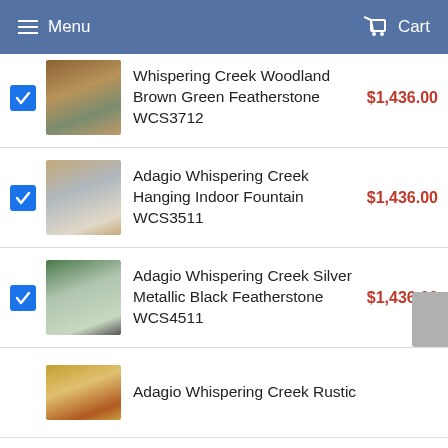Menu   Cart
Whispering Creek Woodland Brown Green Featherstone WCS3712  $1,436.00
Adagio Whispering Creek Hanging Indoor Fountain WCS3511  $1,436.00
Adagio Whispering Creek Silver Metallic Black Featherstone WCS4511  $1,436.00
Adagio Whispering Creek Rustic